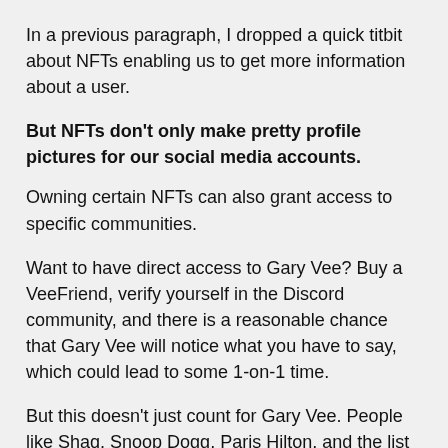In a previous paragraph, I dropped a quick titbit about NFTs enabling us to get more information about a user.
But NFTs don't only make pretty profile pictures for our social media accounts.
Owning certain NFTs can also grant access to specific communities.
Want to have direct access to Gary Vee? Buy a VeeFriend, verify yourself in the Discord community, and there is a reasonable chance that Gary Vee will notice what you have to say, which could lead to some 1-on-1 time.
But this doesn't just count for Gary Vee. People like Shaq, Snoop Dogg, Paris Hilton, and the list goes on, have been spotted in several different NFT Discord communities.
For us as marketers, this matters. Because we now have the opportunity to become part of particular communities and build relationships there that were previously